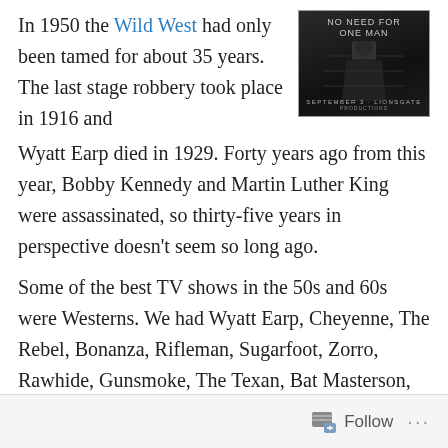In 1950 the Wild West had only been tamed for about 35 years. The last stage robbery took place in 1916 and Wyatt Earp died in 1929. Forty years ago from this year, Bobby Kennedy and Martin Luther King were assassinated, so thirty-five years in perspective doesn't seem so long ago.
[Figure (photo): Movie poster for a Western film showing a lone figure, with text 'ONE MAN' and 'SEPTEMBER 3' and studio branding at the bottom]
Some of the best TV shows in the 50s and 60s were Westerns. We had Wyatt Earp, Cheyenne, The Rebel, Bonanza, Rifleman, Sugarfoot, Zorro, Rawhide, Gunsmoke, The Texan, Bat Masterson, Maverick, The Lone Ranger, Roy Rogers, Have Gun Will Travel, Big Valley, High Chaparral, Wagon Train, Death Valley Days, The Virginian, Wanted Dead or Alive, etc. I think you get
Follow ···